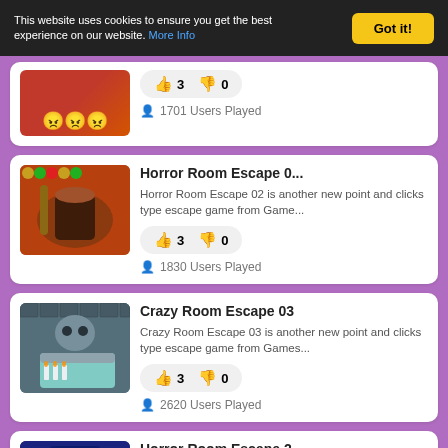This website uses cookies to ensure you get the best experience on our website. More Info
Got it!
[Figure (screenshot): Partial game card showing emoji faces on a red/brown background with rating 👍 3 👎 0 and 1701 Users Played]
👍 3  👎 0
1701 Users Played
Horror Room Escape 0...
Horror Room Escape 02 is another new point and clicks type escape game from Game...
👍 3  👎 0
1830 Users Played
Crazy Room Escape 03
Crazy Room Escape 03 is another new point and clicks type escape game from Games...
👍 3  👎 0
2620 Users Played
Horror Room Escape 2